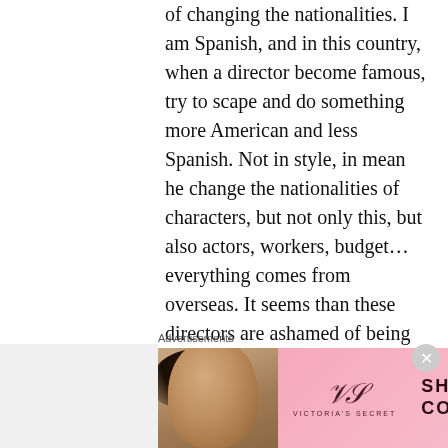of changing the nationalities. I am Spanish, and in this country, when a director become famous, try to scape and do something more American and less Spanish. Not in style, in mean he change the nationalities of characters, but not only this, but also actors, workers, budget… everything comes from overseas. It seems than these directors are ashamed of being Spanish. They only come here to Spain to recieve prizes. I really though when I see The Orphanage (film which I trully love) that Bayona wouldn't do something like this. I'm not blaming on him. Money is money, I understand. But, in opposition
Advertisements
[Figure (other): Victoria's Secret advertisement banner with a woman's face on the left, VS logo in the center-left, 'SHOP THE COLLECTION' text in the middle, and a 'SHOP NOW' button on the right, on a pink background.]